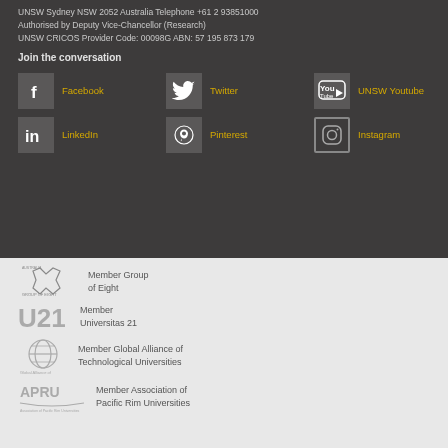UNSW Sydney NSW 2052 Australia Telephone +61 2 93851000
Authorised by Deputy Vice-Chancellor (Research)
UNSW CRICOS Provider Code: 00098G ABN: 57 195 873 179
Join the conversation
[Figure (infographic): Social media icons row 1: Facebook, Twitter, UNSW Youtube]
[Figure (infographic): Social media icons row 2: LinkedIn, Pinterest, Instagram]
[Figure (logo): Group of Eight Australia logo]
Member Group of Eight
[Figure (logo): U21 Universitas 21 logo]
Member Universitas 21
[Figure (logo): Global Alliance of Technological Universities logo]
Member Global Alliance of Technological Universities
[Figure (logo): APRU Association of Pacific Rim Universities logo]
Member Association of Pacific Rim Universities